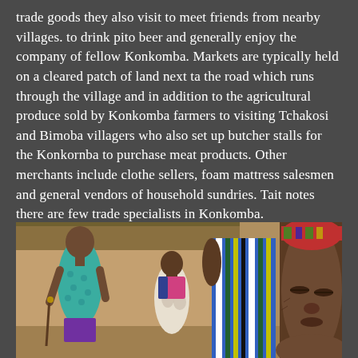trade goods they also visit to meet friends from nearby villages. to drink pito beer and generally enjoy the company of fellow Konkomba. Markets are typically held on a cleared patch of land next ta the road which runs through the village and in addition to the agricultural produce sold by Konkomba farmers to visiting Tchakosi and Bimoba villagers who also set up butcher stalls for the Konkornba to purchase meat products. Other merchants include clothe sellers, foam mattress salesmen and general vendors of household sundries. Tait notes there are few trade specialists in Konkomba.
[Figure (photo): A photograph showing several people in a village setting. On the left, a young woman in a teal/green patterned dress holds a stick. In the center, a shorter person in a white patterned skirt. A tall figure in the center-right wears a striped blue, green, white and black cloth/garment. On the far right, close-up of an elderly person's face with eyes closed, wearing a colorful head covering. Background shows a mud/adobe building with thatched roof.]